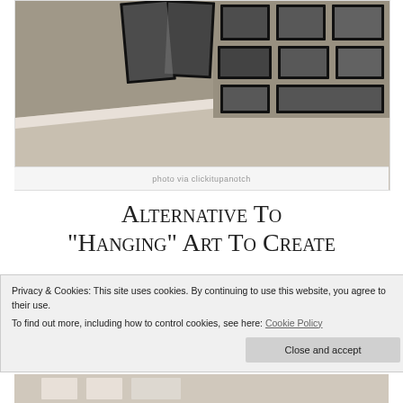[Figure (photo): Interior photo showing a light wood floor and a wall covered with black-framed photo gallery art arrangement.]
photo via clickitupanotch
Alternative To “Hanging” Art To Create
Privacy & Cookies: This site uses cookies. By continuing to use this website, you agree to their use.
To find out more, including how to control cookies, see here: Cookie Policy
[Figure (photo): Bottom portion of another interior photo showing frames or art arrangement.]